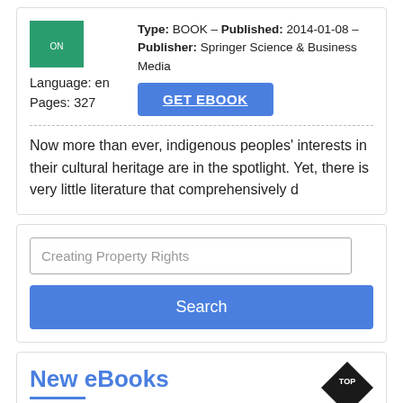Language: en
Pages: 327
Type: BOOK - Published: 2014-01-08 - Publisher: Springer Science & Business Media
GET EBOOK
Now more than ever, indigenous peoples' interests in their cultural heritage are in the spotlight. Yet, there is very little literature that comprehensively d
Creating Property Rights
Search
New eBooks